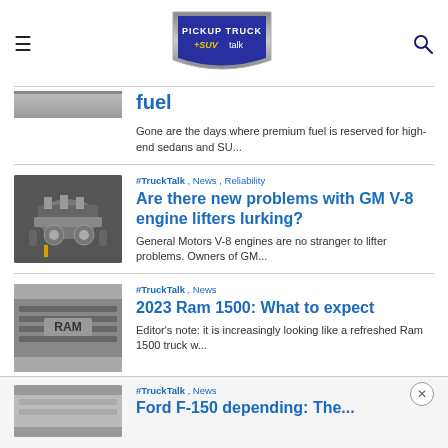PICKUP TRUCK +SUV talk
fuel
Gone are the days where premium fuel is reserved for high-end sedans and SU...
[Figure (photo): Engine photo thumbnail]
#TruckTalk , News , Reliability
Are there new problems with GM V-8 engine lifters lurking?
General Motors V-8 engines are no stranger to lifter problems. Owners of GM...
[Figure (photo): Ram truck grille photo thumbnail]
#TruckTalk , News
2023 Ram 1500: What to expect
Editor's note: it is increasingly looking like a refreshed Ram 1500 truck w...
#TruckTalk , News
Ford F-150 depending: The...